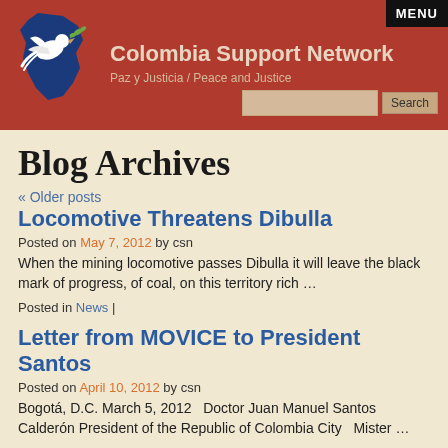Colombia Support Network — Paz y Justicia / Peace and Justice
Blog Archives
« Older posts
Locomotive Threatens Dibulla
Posted on May 7, 2012 by csn
When the mining locomotive passes Dibulla it will leave the black mark of progress, of coal, on this territory rich …
Posted in News |
Letter from MOVICE to President Santos
Posted on April 10, 2012 by csn
Bogotá, D.C. March 5, 2012   Doctor Juan Manuel Santos Calderón President of the Republic of Colombia City   Mister …